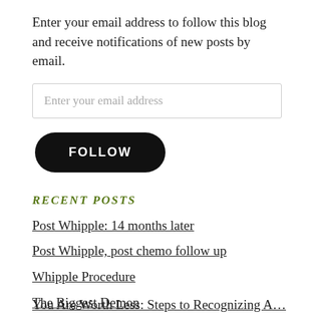Enter your email address to follow this blog and receive notifications of new posts by email.
Enter your email address
FOLLOW
RECENT POSTS
Post Whipple: 14 months later
Post Whipple, post chemo follow up
Whipple Procedure
The Biggest Demon
You Are Worth Less: Steps to Recognizing A...